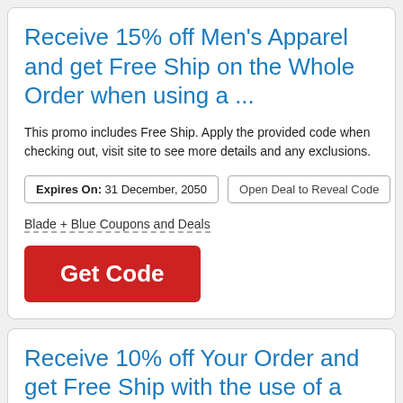Receive 15% off Men's Apparel and get Free Ship on the Whole Order when using a ...
This promo includes Free Ship. Apply the provided code when checking out, visit site to see more details and any exclusions.
Expires On: 31 December, 2050
Open Deal to Reveal Code
Blade + Blue Coupons and Deals
Get Code
Receive 10% off Your Order and get Free Ship with the use of a Coupon Code...